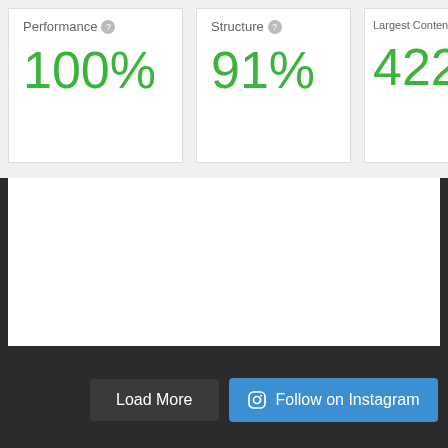[Figure (screenshot): Performance metric card showing 100%]
[Figure (screenshot): Structure metric card showing 91%]
[Figure (screenshot): Largest Contentful Paint metric card showing 422ms (partially cropped)]
Load More
Follow on Instagram
Facebook